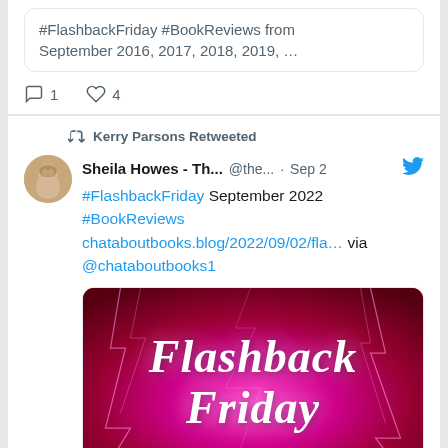#FlashbackFriday #BookReviews from September 2016, 2017, 2018, 2019, …
1 reply, 4 likes
Kerry Parsons Retweeted
Sheila Howes - Th... @the... · Sep 2
#FlashbackFriday September 2022 #BookReviews chataboutbooks.blog/2022/09/02/fla… via @chataboutbooks1
[Figure (photo): Flashback Friday promotional image with pink/magenta lightning background and white italic text reading 'Flashback Friday']
chataboutbooks.blog
#FlashbackFriday September